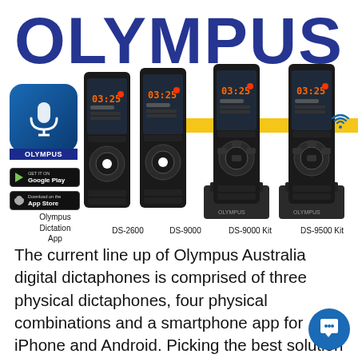[Figure (photo): Olympus Australia product lineup: Olympus Dictation App icon, DS-2600, DS-9000, DS-9000 Kit (in dock), DS-9500 Kit (in dock with WiFi icon). Large OLYMPUS logo in blue behind devices. Yellow horizontal bar accent. Google Play and App Store download buttons shown.]
Olympus Dictation App   DS-2600   DS-9000   DS-9000 Kit   DS-9500 Kit
The current line up of Olympus Australia digital dictaphones is comprised of three physical dictaphones, four physical combinations and a smartphone app for iPhone and Android. Picking the best solution for you really depends on a few factors; are you upgrading from an older dictaphone? are you new to dictation? do you only use a … read more